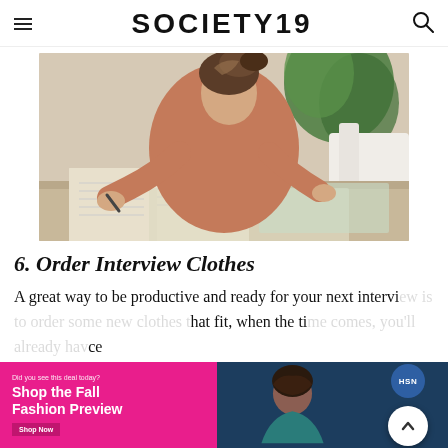SOCIETY19
[Figure (photo): Young woman with hair up leaning over open notebooks/journals on a table, writing with a pen, wearing a rust/terracotta short-sleeve top, with a green plant and white couch in the background.]
6. Order Interview Clothes
A great way to be productive and ready for your next interview is to order some new clothes that fit, when the ti ce
[Figure (photo): Advertisement overlay: left pink section reads 'Shop the Fall Fashion Preview', middle section shows a woman in teal top on dark blue background with HSN logo badge, right section has white scroll-to-top button.]